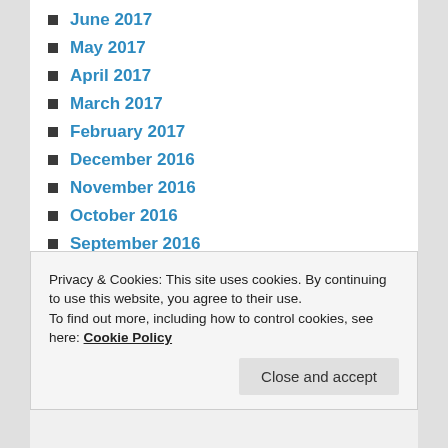June 2017
May 2017
April 2017
March 2017
February 2017
December 2016
November 2016
October 2016
September 2016
August 2016
July 2016
June 2016
May 2016
April 2016
Privacy & Cookies: This site uses cookies. By continuing to use this website, you agree to their use.
To find out more, including how to control cookies, see here: Cookie Policy
Close and accept